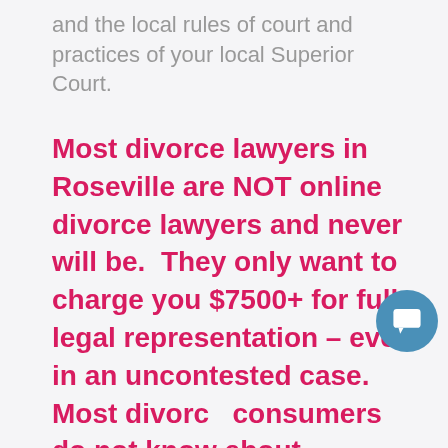and the local rules of court and practices of your local Superior Court.
Most divorce lawyers in Roseville are NOT online divorce lawyers and never will be.  They only want to charge you $7500+ for full legal representation – even in an uncontested case.  Most divorce consumers do not know about unbundled services and most lawyers won't tell you about them. But most lawyers don't